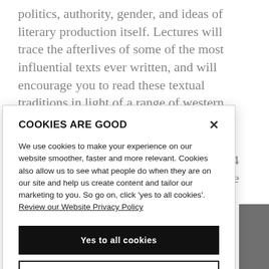politics, authority, gender, and ideas of literary production itself. Lectures will trace the afterlives of some of the most influential texts ever written, and will encourage you to read these textual traditions in light of a range of western literary ideologies.
Building upon work completed at Level 4 on early modern authors like Shakespeare and Donne, this
COOKIES ARE GOOD
We use cookies to make your experience on our website smoother, faster and more relevant. Cookies also allow us to see what people do when they are on our site and help us create content and tailor our marketing to you. So go on, click 'yes to all cookies'. Review our Website Privacy Policy
Yes to all cookies
Let me choose